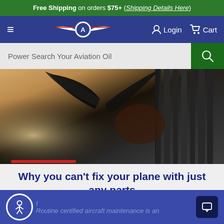Free Shipping on orders $75+ (Shipping Details Here)
Navigation bar with hamburger menu, Aviation Oil Outlet logo, Login, Cart
Power Search Your Aviation Oil
[Figure (photo): Close-up photograph of airplane propeller and engine parts, dark metallic tones with warm bokeh background]
Why you can't fix your plane with just any parts
Aviation Oil Outlet on Jun 6th 2018
Routine certified aircraft maintenance is an